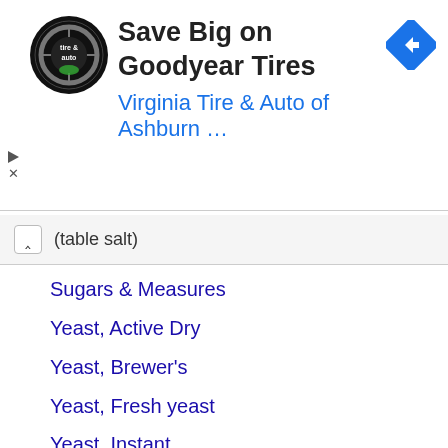[Figure (logo): Advertisement banner: Save Big on Goodyear Tires - Virginia Tire & Auto of Ashburn logo and navigation arrow icon]
(table salt)
Sugars & Measures
Yeast, Active Dry
Yeast, Brewer's
Yeast, Fresh yeast
Yeast, Instant
Volume unit to unit
Weight unit to unit
Material
Concrete